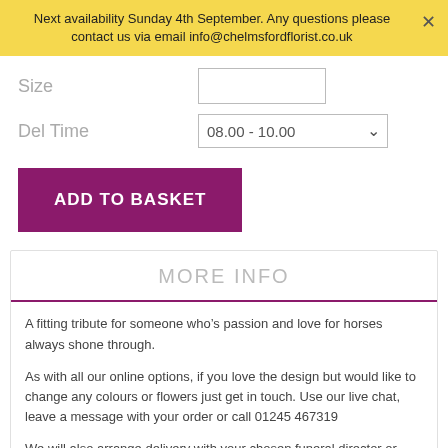Next availability Sunday 4th September. Any questions please contact us via email info@chelmsfordflorist.co.uk
Size
Del Time
ADD TO BASKET
MORE INFO
A fitting tribute for someone who's passion and love for horses always shone through.
As with all our online options, if you love the design but would like to change any colours or flowers just get in touch. Use our live chat, leave a message with your order or call 01245 467319
We will also arrange delivery with your chosen funeral director or location of your choice in Chelmsford CM1 or CM2 for no added